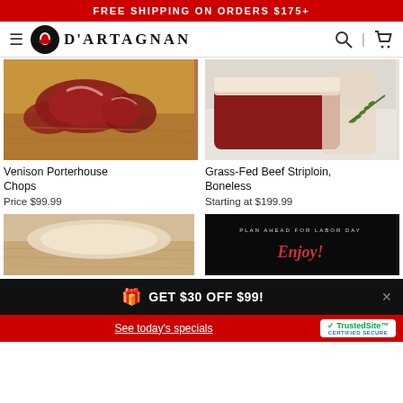FREE SHIPPING ON ORDERS $175+
[Figure (screenshot): D'Artagnan navigation bar with hamburger menu, logo, search and cart icons]
[Figure (photo): Venison Porterhouse Chops meat on wooden cutting board]
Venison Porterhouse Chops
Price $99.99
[Figure (photo): Grass-Fed Beef Striploin Boneless on white surface with rosemary]
Grass-Fed Beef Striploin, Boneless
Starting at $199.99
[Figure (photo): Light colored meat/poultry on wooden surface]
[Figure (photo): Dark background with cursive text and Plan Ahead for Labor Day text]
GET $30 OFF $99!
See today's specials